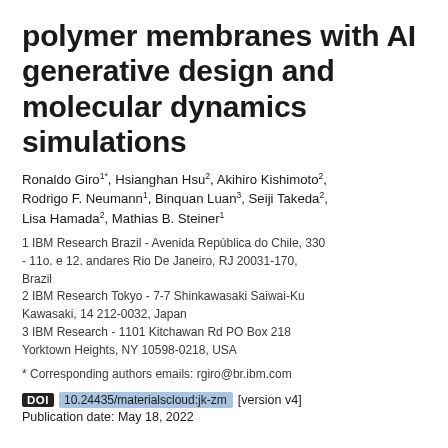polymer membranes with AI generative design and molecular dynamics simulations
Ronaldo Giro1*, Hsianghan Hsu2, Akihiro Kishimoto2, Rodrigo F. Neumann1, Binquan Luan3, Seiji Takeda2, Lisa Hamada2, Mathias B. Steiner1
1 IBM Research Brazil - Avenida República do Chile, 330 - 11o. e 12. andares Rio De Janeiro, RJ 20031-170, Brazil
2 IBM Research Tokyo - 7-7 Shinkawasaki Saiwai-Ku Kawasaki, 14 212-0032, Japan
3 IBM Research - 1101 Kitchawan Rd PO Box 218 Yorktown Heights, NY 10598-0218, USA
* Corresponding authors emails: rgiro@br.ibm.com
DOI 10.24435/materialscloud:jk-zm [version v4]
Publication date: May 18, 2022